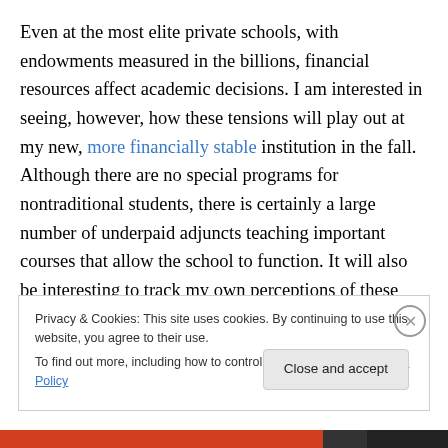Even at the most elite private schools, with endowments measured in the billions, financial resources affect academic decisions. I am interested in seeing, however, how these tensions will play out at my new, more financially stable institution in the fall. Although there are no special programs for nontraditional students, there is certainly a large number of underpaid adjuncts teaching important courses that allow the school to function. It will also be interesting to track my own perceptions of these differences, such as whether I will see things as less
Privacy & Cookies: This site uses cookies. By continuing to use this website, you agree to their use.
To find out more, including how to control cookies, see here: Cookie Policy